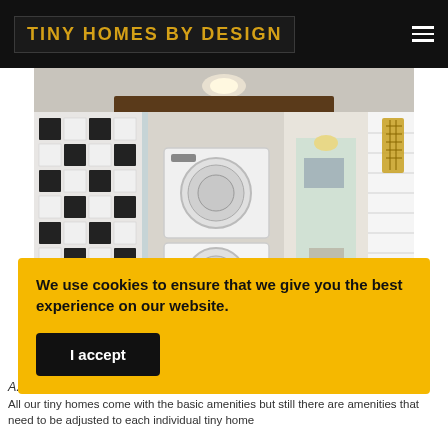TINY HOMES BY DESIGN
[Figure (photo): Interior of a tiny home bathroom/laundry area showing stacked washer and dryer, a glass shower enclosure with black and white patterned tile, a soaking tub, wall sconce with gold geometric shade, white shiplap walls, and a doorway leading to another room.]
We use cookies to ensure that we give you the best experience on our website.
I accept
A...
All our tiny homes come with the basic amenities but still there are amenities that need to be adjusted to each individual tiny home